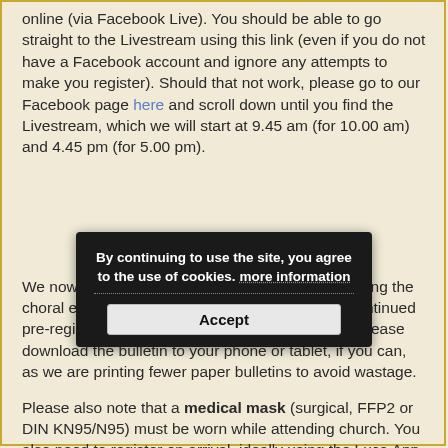online (via Facebook Live). You should be able to go straight to the Livestream using this link (even if you do not have a Facebook account and ignore any attempts to make you register). Should that not work, please go to our Facebook page here and scroll down until you find the Livestream, which we will start at 9.45 am (for 10.00 am) and 4.45 pm (for 5.00 pm).
[Figure (screenshot): Cookie consent popup dialog with dark background reading 'By continuing to use the site, you agree to the use of cookies. more information' and an Accept button.]
We now have seating for up to 70 people (including the choral ensemble and altar party) and have disconintinued pre-registration. If you are coming to the service, please download the bulletin to your phone or tablet, if you can, as we are printing fewer paper bulletins to avoid wastage.
Please also note that a medical mask (surgical, FFP2 or DIN KN95/N95) must be worn while attending church. You also need to register on arrival, ideally using the Luca App.